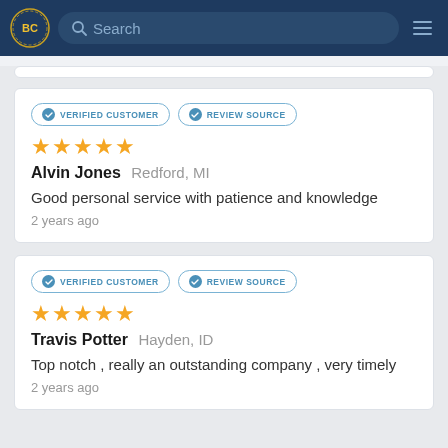BC [logo] Search [hamburger menu]
VERIFIED CUSTOMER | REVIEW SOURCE
★★★★★
Alvin Jones  Redford, MI
Good personal service with patience and knowledge
2 years ago
VERIFIED CUSTOMER | REVIEW SOURCE
★★★★★
Travis Potter  Hayden, ID
Top notch , really an outstanding company , very timely
2 years ago